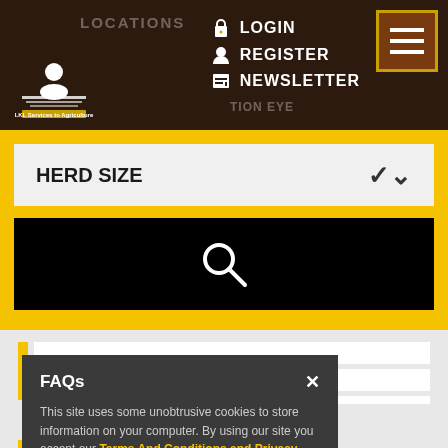[Figure (logo): LKL Services to Agriculture logo with white figure icon on dark brown background]
LOCATIONS
LOGIN
REGISTER
NEWSLETTER
[Figure (other): Hamburger menu button with three horizontal lines in brown square with gold border]
HERD SIZE
[Figure (other): Black search bar with white magnifying glass icon]
[Figure (screenshot): Gray card panels section below yellow bar]
FAQs
This site uses some unobtrusive cookies to store information on your computer. By using our site you accept our Terms And Conditions and Privacy Policy.
TESTIMONIALS